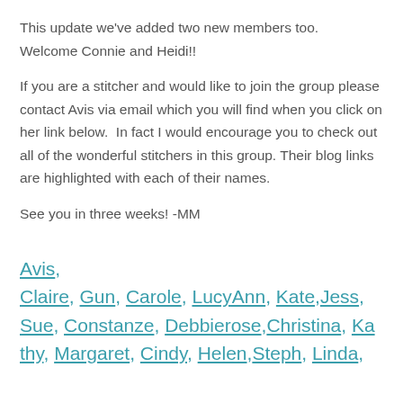This update we've added two new members too. Welcome Connie and Heidi!!
If you are a stitcher and would like to join the group please contact Avis via email which you will find when you click on her link below.  In fact I would encourage you to check out all of the wonderful stitchers in this group. Their blog links are highlighted with each of their names.
See you in three weeks! -MM
Avis, Claire, Gun, Carole, LucyAnn, Kate, Jess, Sue, Constanze, Debbierose, Christina, Kathy, Margaret, Cindy, Helen, Steph, Linda,